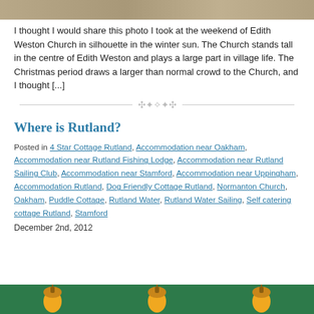[Figure (photo): Top strip of a photo, likely showing a church or landscape scene]
I thought I would share this photo I took at the weekend of Edith Weston Church in silhouette in the winter sun. The Church stands tall in the centre of Edith Weston and plays a large part in village life. The Christmas period draws a larger than normal crowd to the Church, and I thought [...]
[Figure (illustration): Decorative divider with ornamental symbols]
Where is Rutland?
Posted in 4 Star Cottage Rutland, Accommodation near Oakham, Accommodation near Rutland Fishing Lodge, Accommodation near Rutland Sailing Club, Accommodation near Stamford, Accommodation near Uppingham, Accommodation Rutland, Dog Friendly Cottage Rutland, Normanton Church, Oakham, Puddle Cottage, Rutland Water, Rutland Water Sailing, Self catering cottage Rutland, Stamford
December 2nd, 2012
[Figure (illustration): Bottom strip showing acorn/bell icons on a green background]